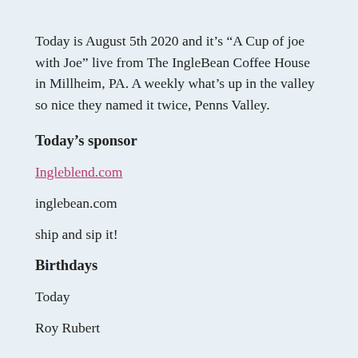Today is August 5th 2020 and it’s “A Cup of joe with Joe” live from The IngleBean Coffee House in Millheim, PA. A weekly what’s up in the valley so nice they named it twice, Penns Valley.
Today’s sponsor
Ingleblend.com
inglebean.com
ship and sip it!
Birthdays
Today
Roy Rubert